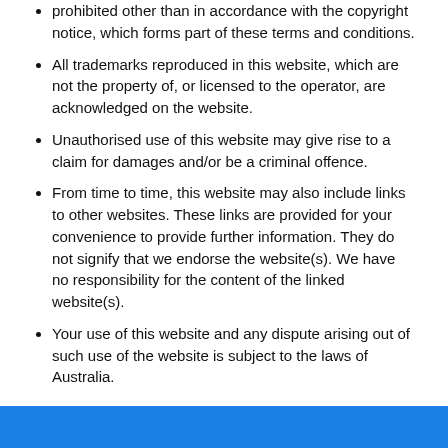prohibited other than in accordance with the copyright notice, which forms part of these terms and conditions.
All trademarks reproduced in this website, which are not the property of, or licensed to the operator, are acknowledged on the website.
Unauthorised use of this website may give rise to a claim for damages and/or be a criminal offence.
From time to time, this website may also include links to other websites. These links are provided for your convenience to provide further information. They do not signify that we endorse the website(s). We have no responsibility for the content of the linked website(s).
Your use of this website and any dispute arising out of such use of the website is subject to the laws of Australia.
Newsletter Signup
Sign up to receive updates to our deals and offers